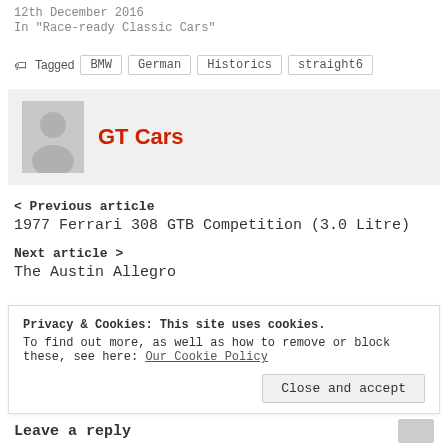12th December 2016
In "Race-ready Classic Cars"
Tagged  BMW  German  Historics  straight6
[Figure (illustration): Author avatar placeholder with user silhouette icon on grey background]
GT Cars
< Previous article
1977 Ferrari 308 GTB Competition (3.0 Litre)
Next article >
The Austin Allegro
Privacy & Cookies: This site uses cookies. To find out more, as well as how to remove or block these, see here: Our Cookie Policy
Leave a reply